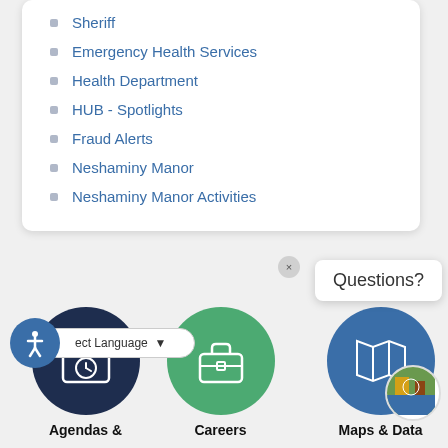Sheriff
Emergency Health Services
Health Department
HUB - Spotlights
Fraud Alerts
Neshaminy Manor
Neshaminy Manor Activities
[Figure (screenshot): Three circular icon buttons: Agendas & (calendar icon, dark navy), Careers (briefcase icon, green), Maps & Data (map icon, steel blue). Below is an accessibility icon circle and a language selector dropdown. A 'Questions?' tooltip bubble appears top right.]